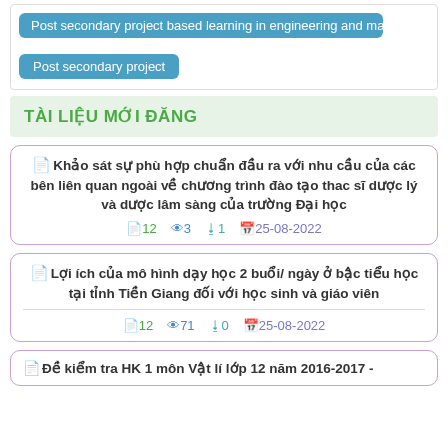Post secondary project based learning in engineering and math
Post secondary project
TÀI LIỆU MỚI ĐĂNG
Khảo sát sự phù hợp chuẩn đầu ra với nhu cầu của các bên liên quan ngoài về chương trình đào tạo thac sĩ dược lý và dược lâm sàng của trường Đại học
12  3  1  25-08-2022
Lợi ích của mô hình dạy học 2 buổi/ ngày ở bậc tiểu học tại tỉnh Tiền Giang đối với học sinh và giáo viên
12  71  0  25-08-2022
Đề kiểm tra HK 1 môn Vật lí lớp 12 năm 2016-2017 -